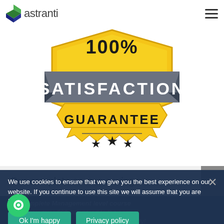astranti
[Figure (illustration): 100% Satisfaction Guarantee badge/seal in gold and gray colors with stars]
Our complete course savings
Our complete Management level course saves you over £60 compared to the normal course price if you buy each course individually!
We use cookies to ensure that we give you the best experience on our website. If you continue to use this site we will assume that you are happy.
Ok I'm happy
Privacy policy